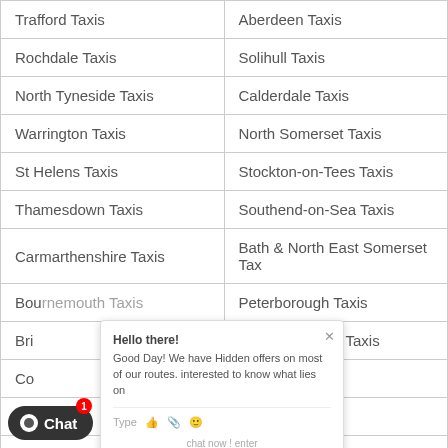| Trafford Taxis | Aberdeen Taxis |
| Rochdale Taxis | Solihull Taxis |
| North Tyneside Taxis | Calderdale Taxis |
| Warrington Taxis | North Somerset Taxis |
| St Helens Taxis | Stockton-on-Tees Taxis |
| Thamesdown Taxis | Southend-on-Sea Taxis |
| Carmarthenshire Taxis | Bath & North East Somerset Ta... |
| Bournemouth Taxis | Peterborough Taxis |
| Bri... | South Tyneside Taxis |
| Co... | Knowsley Taxis |
| Ma... | Blackpool Taxis |
| Dundee Taxis | Basingstoke & Deane Taxis |
| Middlesbrough Taxis | Flintshire Taxis |